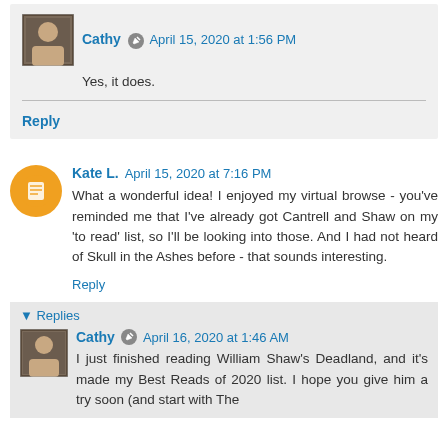Cathy  April 15, 2020 at 1:56 PM
Yes, it does.
Reply
Kate L.  April 15, 2020 at 7:16 PM
What a wonderful idea! I enjoyed my virtual browse - you've reminded me that I've already got Cantrell and Shaw on my 'to read' list, so I'll be looking into those. And I had not heard of Skull in the Ashes before - that sounds interesting.
Reply
▾ Replies
Cathy  April 16, 2020 at 1:46 AM
I just finished reading William Shaw's Deadland, and it's made my Best Reads of 2020 list. I hope you give him a try soon (and start with The